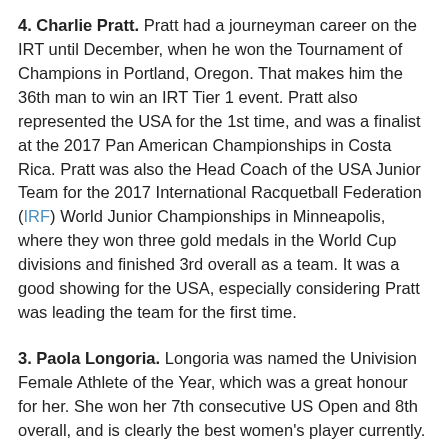4. Charlie Pratt. Pratt had a journeyman career on the IRT until December, when he won the Tournament of Champions in Portland, Oregon. That makes him the 36th man to win an IRT Tier 1 event. Pratt also represented the USA for the 1st time, and was a finalist at the 2017 Pan American Championships in Costa Rica. Pratt was also the Head Coach of the USA Junior Team for the 2017 International Racquetball Federation (IRF) World Junior Championships in Minneapolis, where they won three gold medals in the World Cup divisions and finished 3rd overall as a team. It was a good showing for the USA, especially considering Pratt was leading the team for the first time.
3. Paola Longoria. Longoria was named the Univision Female Athlete of the Year, which was a great honour for her. She won her 7th consecutive US Open and 8th overall, and is clearly the best women's player currently. Yet, 2017 wasn't her strongest year on tour, although she remains the #1 women's player on the Ladies Professional Racquetball Tour (LPRT). Two losses were why it wasn't Longoria's best year. Two losses in one year for other players would be amazing, but for Longoria who has been undefeated in a year